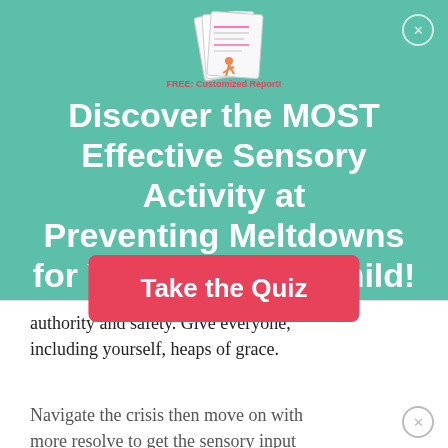[Figure (illustration): Colorful illustrated report/booklet pages fanned out, with text 'FREE: Customized Report!' in red/pink, and a small running child icon.]
Discover the MOST Effective Sensory Activity at Preventing Meltdowns for YOUR Unique Child!
Take the Quiz
authority and safety. Give everyone, including yourself, heaps of grace.
Navigate the crisis then move on with more resolve to get the sensory input